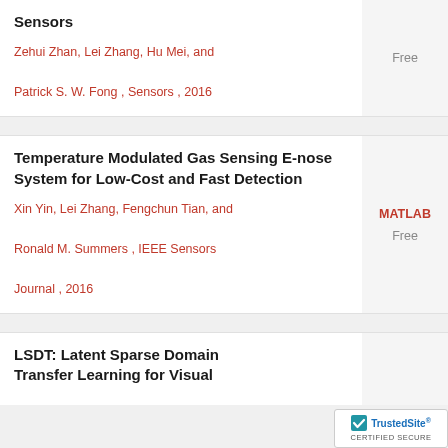Sensors
Zehui Zhan, Lei Zhang, Hu Mei, and Patrick S. W. Fong , Sensors , 2016
Free
Temperature Modulated Gas Sensing E-nose System for Low-Cost and Fast Detection
Xin Yin, Lei Zhang, Fengchun Tian, and Ronald M. Summers , IEEE Sensors Journal , 2016
MATLAB
Free
LSDT: Latent Sparse Domain Transfer Learning for Visual